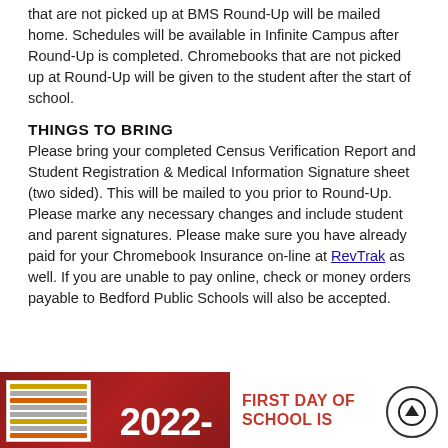that are not picked up at BMS Round-Up will be mailed home. Schedules will be available in Infinite Campus after Round-Up is completed. Chromebooks that are not picked up at Round-Up will be given to the student after the start of school.
THINGS TO BRING
Please bring your completed Census Verification Report and Student Registration & Medical Information Signature sheet (two sided). This will be mailed to you prior to Round-Up.  Please marke any necessary changes and include student and parent signatures. Please make sure you have already paid for your Chromebook Insurance on-line at RevTrak as well. If you are unable to pay online, check or money orders payable to Bedford Public Schools will also be accepted.
[Figure (illustration): Red banner image showing '2022-' text and a document thumbnail on the left side, with 'FIRST DAY OF SCHOOL IS' text in red on the right side. A circular scroll-up button overlaps the right corner.]